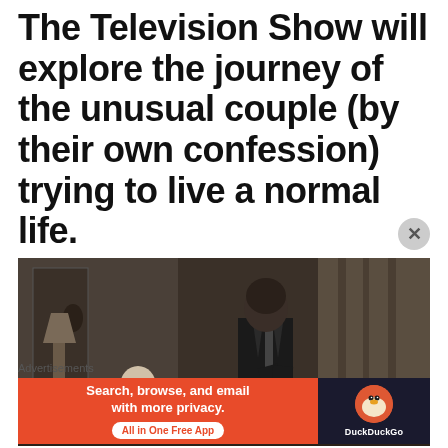The Television Show will explore the journey of the unusual couple (by their own confession) trying to live a normal life.
[Figure (photo): Black and white / sepia still from a television show. A man in a dark suit is leaning over, apparently attending to someone lying down. The setting appears to be an interior room with curtains in the background.]
Advertisements
[Figure (screenshot): DuckDuckGo advertisement banner. Left side is orange/red with white text: 'Search, browse, and email with more privacy.' and a white pill button 'All in One Free App'. Right side is dark navy with the DuckDuckGo circular logo and 'DuckDuckGo' text in white.]